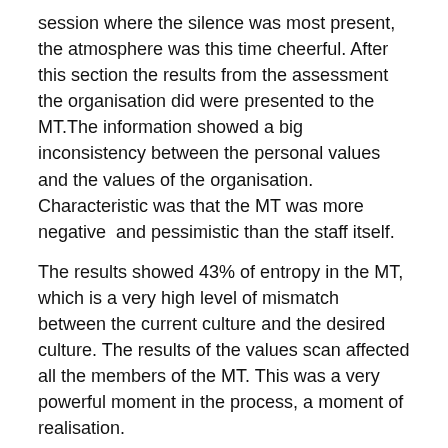session where the silence was most present, the atmosphere was this time cheerful. After this section the results from the assessment the organisation did were presented to the MT.The information showed a big inconsistency between the personal values and the values of the organisation. Characteristic was that the MT was more negative  and pessimistic than the staff itself.
The results showed 43% of entropy in the MT, which is a very high level of mismatch between the current culture and the desired culture. The results of the values scan affected all the members of the MT. This was a very powerful moment in the process, a moment of realisation.
The results were ' shocking', one  said that ' this image is a disaster' and another one ' we are  torn'.
Session 6 – Prototyping and Learning